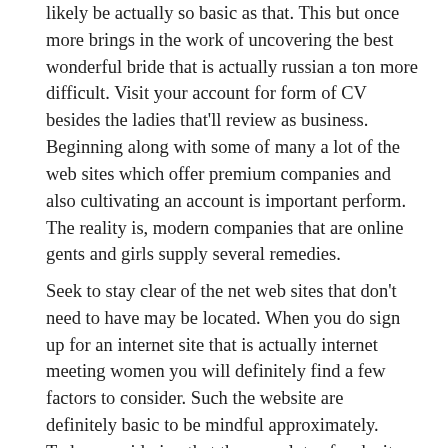likely be actually so basic as that. This but once more brings in the work of uncovering the best wonderful bride that is actually russian a ton more difficult. Visit your account for form of CV besides the ladies that'll review as business. Beginning along with some of many a lot of the web sites which offer premium companies and also cultivating an account is important perform. The reality is, modern companies that are online gents and girls supply several remedies.
Seek to stay clear of the net web sites that don't need to have may be located. When you do sign up for an internet site that is actually internet meeting women you will definitely find a few factors to consider. Such the website are definitely basic to be mindful approximately. Today considering that there are lots of web sites to perform this it needs to be straightforward to begin connecting along with a woman. You will definitely locate plenty of website being understood and also real. These sites likewise permit